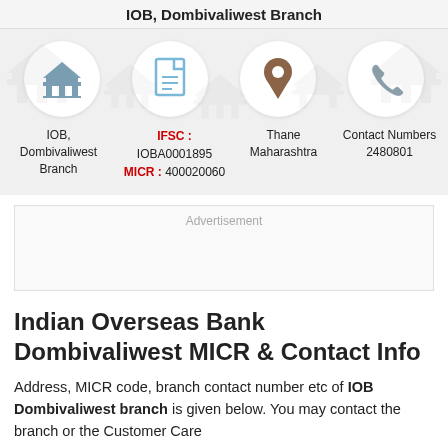IOB, Dombivaliwest Branch
[Figure (infographic): Four circular icons in a row: bank building icon (grey), document icon (light blue), location pin icon (brown), phone icon (grey). Background has faint watermark bank icons.]
IOB, Dombivaliwest Branch
IFSC : IOBA0001895  MICR : 400020060
Thane Maharashtra
Contact Numbers 2480801
Advertisement
Indian Overseas Bank Dombivaliwest MICR & Contact Info
Address, MICR code, branch contact number etc of IOB Dombivaliwest branch is given below. You may contact the branch or the Customer Care